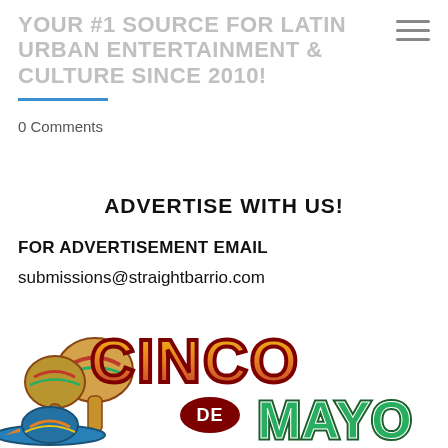YOUR #1 SOURCE FOR LATIN URBAN ENTERTAINMENT & CULTURE SINCE 2010!
0 Comments
ADVERTISE WITH US!
FOR ADVERTISEMENT EMAIL
submissions@straightbarrio.com
[Figure (illustration): Cinco de Mayo graphic with colorful stylized text reading 'CINCO DE MAYO' in orange/yellow and green with dark outlines, accompanied by illustrated maracas and a sombrero hat]